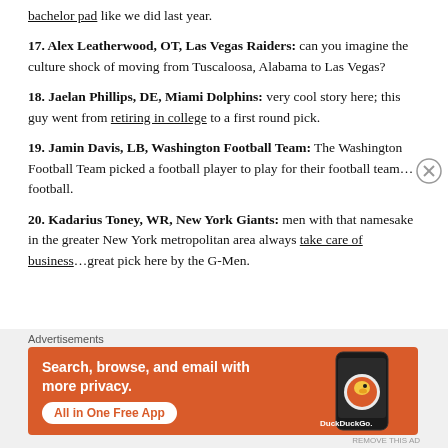bachelor pad like we did last year.
17. Alex Leatherwood, OT, Las Vegas Raiders: can you imagine the culture shock of moving from Tuscaloosa, Alabama to Las Vegas?
18. Jaelan Phillips, DE, Miami Dolphins: very cool story here; this guy went from retiring in college to a first round pick.
19. Jamin Davis, LB, Washington Football Team: The Washington Football Team picked a football player to play for their football team… football.
20. Kadarius Toney, WR, New York Giants: men with that namesake in the greater New York metropolitan area always take care of business…great pick here by the G-Men.
[Figure (infographic): DuckDuckGo advertisement banner: orange background with text 'Search, browse, and email with more privacy. All in One Free App' and DuckDuckGo logo with duck icon on a phone mockup]